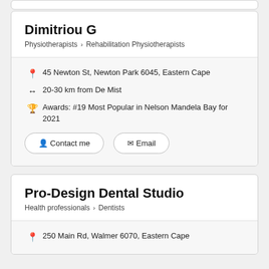Dimitriou G
Physiotherapists > Rehabilitation Physiotherapists
45 Newton St, Newton Park 6045, Eastern Cape
20-30 km from De Mist
Awards: #19 Most Popular in Nelson Mandela Bay for 2021
Contact me
Email
Pro-Design Dental Studio
Health professionals > Dentists
250 Main Rd, Walmer 6070, Eastern Cape